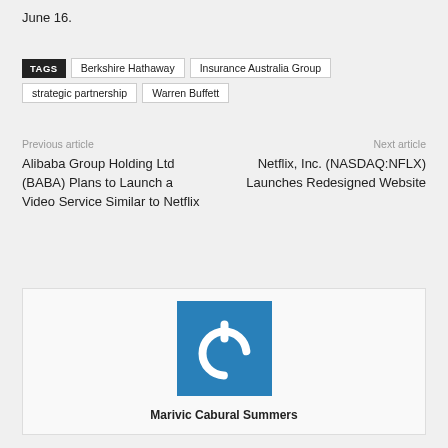June 16.
TAGS  Berkshire Hathaway  Insurance Australia Group  strategic partnership  Warren Buffett
Previous article
Alibaba Group Holding Ltd (BABA) Plans to Launch a Video Service Similar to Netflix
Next article
Netflix, Inc. (NASDAQ:NFLX) Launches Redesigned Website
[Figure (logo): Blue square with white power button icon (circle with top gap and vertical line at top)]
Marivic Cabural Summers